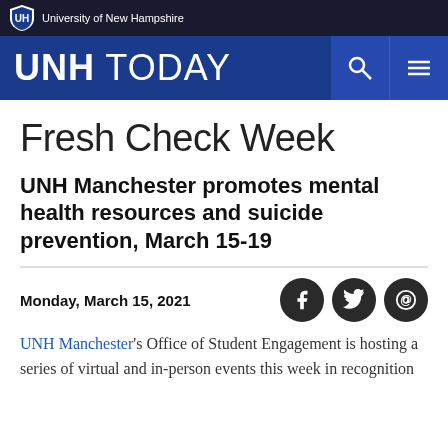University of New Hampshire
UNH TODAY
Fresh Check Week
UNH Manchester promotes mental health resources and suicide prevention, March 15-19
Monday, March 15, 2021
UNH Manchester's Office of Student Engagement is hosting a series of virtual and in-person events this week in recognition